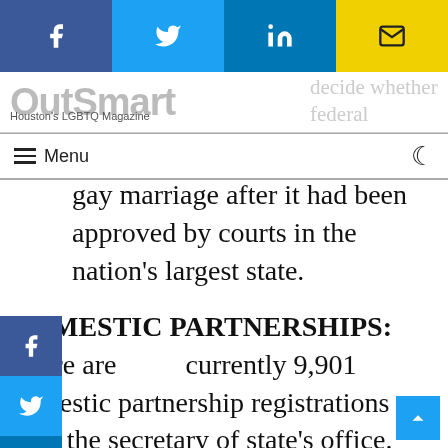[Figure (other): Social media share buttons bar: Facebook (blue), Twitter (light blue), LinkedIn (blue), Email (yellow)]
OutSmart Houston's LGBTQ Magazine
...decide whether federal courts were correct in striking down California's Proposition 8, the amendment that outlawed gay marriage after it had been approved by courts in the nation's largest state.
DOMESTIC PARTNERSHIPS: There are currently 9,901 domestic partnership registrations with the secretary of state's office. Same-sex domestic partners have two years to either dissolve their relationship or get married. Most same-sex domestic partnerships that aren't ended prior to June 30, 2014, would automatically become marriages. Domestic